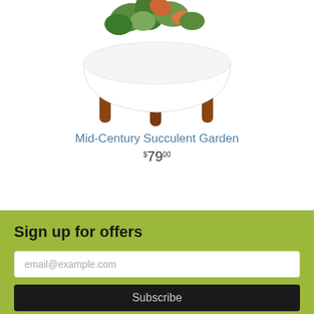[Figure (illustration): Mid-century modern white ceramic planter/bowl on four wooden legs with colorful succulents inside, partially cropped at top]
Mid-Century Succulent Garden
$79.00
Sign up for offers
email@example.com
Subscribe